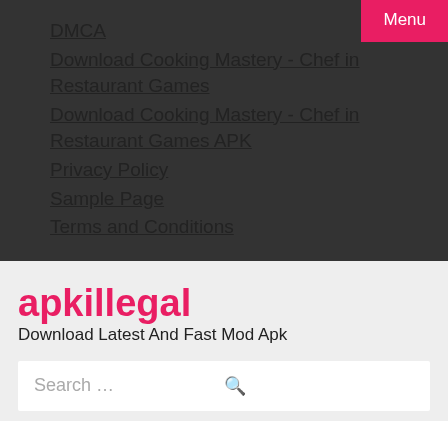Menu
DMCA
Download Cooking Mastery - Chef in Restaurant Games
Download Cooking Mastery - Chef in Restaurant Games APK
Privacy Policy
Sample Page
Terms and Conditions
apkillegal
Download Latest And Fast Mod Apk
Search …